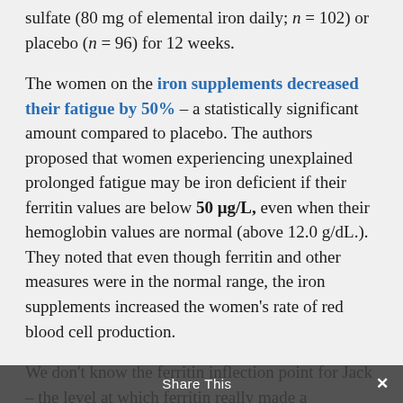sulfate (80 mg of elemental iron daily; n = 102) or placebo (n = 96) for 12 weeks.
The women on the iron supplements decreased their fatigue by 50% – a statistically significant amount compared to placebo. The authors proposed that women experiencing unexplained prolonged fatigue may be iron deficient if their ferritin values are below 50 μg/L, even when their hemoglobin values are normal (above 12.0 g/dL.). They noted that even though ferritin and other measures were in the normal range, the iron supplements increased the women's rate of red blood cell production.
We don't know the ferritin inflection point for Jack – the level at which ferritin really made a difference for him – but note that 30 ng/ml was not enough. It wasn't until
Share This ×